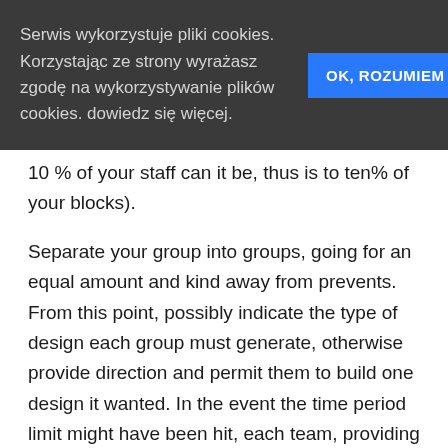Serwis wykorzystuje pliki cookies. Korzystając ze strony wyrażasz zgodę na wykorzystywanie plików cookies. dowiedz się więcej.
OK, ROZUMIEM
10 % of your staff can it be, thus is to ten% of your blocks).
Separate your group into groups, going for an equal amount and kind away from prevents. From this point, possibly indicate the type of design each group must generate, otherwise provide direction and permit them to build one design it wanted. In the event the time period limit might have been hit, each team, providing converts, need to begin to clean out an excellent stop at